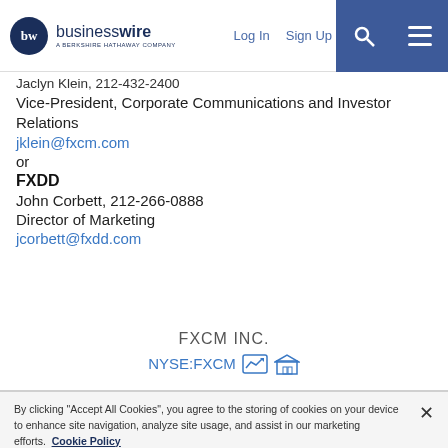businesswire — A BERKSHIRE HATHAWAY COMPANY | Log In | Sign Up
Jaclyn Klein, 212-432-2400
Vice-President, Corporate Communications and Investor Relations
jklein@fxcm.com
or
FXDD
John Corbett, 212-266-0888
Director of Marketing
jcorbett@fxdd.com
FXCM INC.
NYSE:FXCM
By clicking "Accept All Cookies", you agree to the storing of cookies on your device to enhance site navigation, analyze site usage, and assist in our marketing efforts. Cookie Policy
Cookies Settings | Accept All Cookies